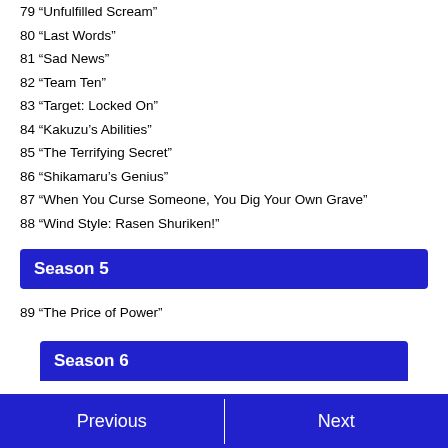79 “Unfulfilled Scream”
80 “Last Words”
81 “Sad News”
82 “Team Ten”
83 “Target: Locked On”
84 “Kakuzu’s Abilities”
85 “The Terrifying Secret”
86 “Shikamaru’s Genius”
87 “When You Curse Someone, You Dig Your Own Grave”
88 “Wind Style: Rasen Shuriken!”
Season 5
89 “The Price of Power”
Season 6
Previous  |  Next